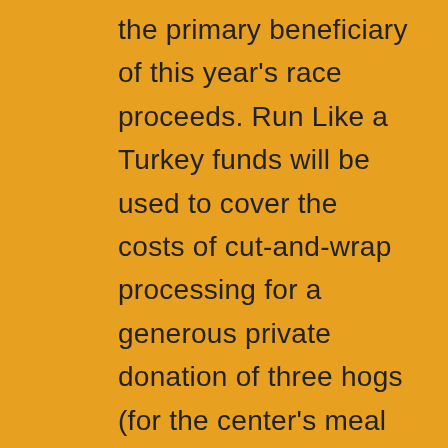the primary beneficiary of this year's race proceeds. Run Like a Turkey funds will be used to cover the costs of cut-and-wrap processing for a generous private donation of three hogs (for the center's meal delivery program*). Thanks to all who register and donate in support of this important service in our